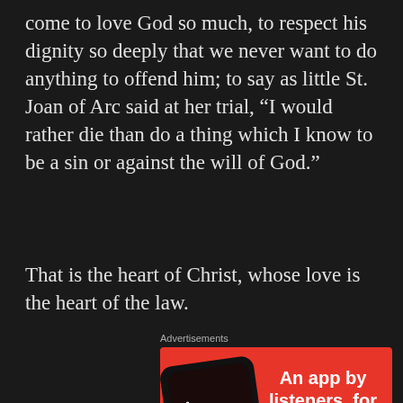come to love God so much, to respect his dignity so deeply that we never want to do anything to offend him; to say as little St. Joan of Arc said at her trial, “I would rather die than do a thing which I know to be a sin or against the will of God.”
That is the heart of Christ, whose love is the heart of the law.
Advertisements
[Figure (infographic): Red advertisement banner for a podcast app called 'Distributed'. Shows a smartphone with the app open and bold text reading 'An app by listeners, for listeners.' with a 'Download now' button.]